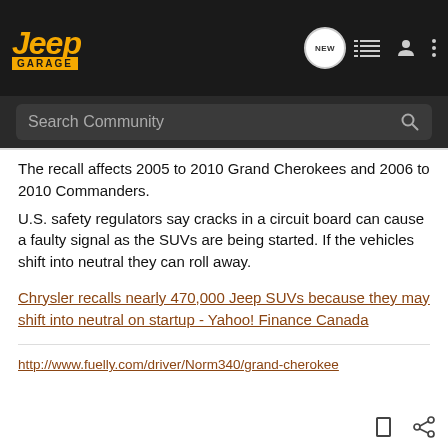[Figure (screenshot): Jeep Garage website navigation bar with logo, NEW chat bubble icon, list icon, user icon, and more options (three dots)]
[Figure (screenshot): Search Community search bar with magnifying glass icon on dark background]
The recall affects 2005 to 2010 Grand Cherokees and 2006 to 2010 Commanders.
U.S. safety regulators say cracks in a circuit board can cause a faulty signal as the SUVs are being started. If the vehicles shift into neutral they can roll away.
Chrysler recalls nearly 470,000 Jeep SUVs because they may shift into neutral on startup - Yahoo! Finance Canada
http://www.fuelly.com/driver/Norm340/grand-cherokee